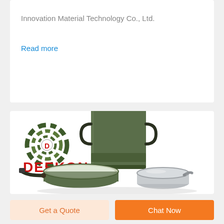Innovation Material Technology Co., Ltd.
Read more
[Figure (logo): DEEKON brand logo with camouflage circular target emblem above red bold text DEEKON]
[Figure (photo): Military-style cookware set consisting of a tall olive green container with handle, a shallow olive pan with folding handle, and a round silver/aluminum container, arranged on white background]
Get a Quote
Chat Now